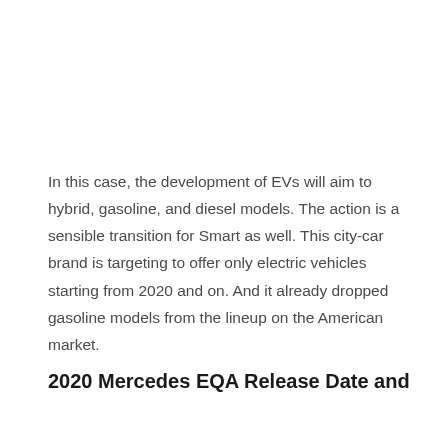In this case, the development of EVs will aim to hybrid, gasoline, and diesel models. The action is a sensible transition for Smart as well. This city-car brand is targeting to offer only electric vehicles starting from 2020 and on. And it already dropped gasoline models from the lineup on the American market.
2020 Mercedes EQA Release Date and